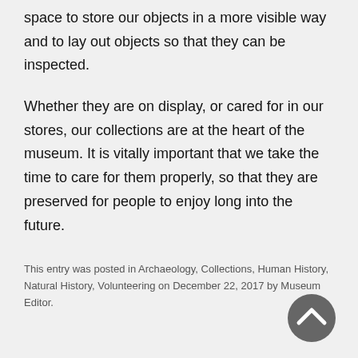space to store our objects in a more visible way and to lay out objects so that they can be inspected.
Whether they are on display, or cared for in our stores, our collections are at the heart of the museum. It is vitally important that we take the time to care for them properly, so that they are preserved for people to enjoy long into the future.
This entry was posted in Archaeology, Collections, Human History, Natural History, Volunteering on December 22, 2017 by Museum Editor.